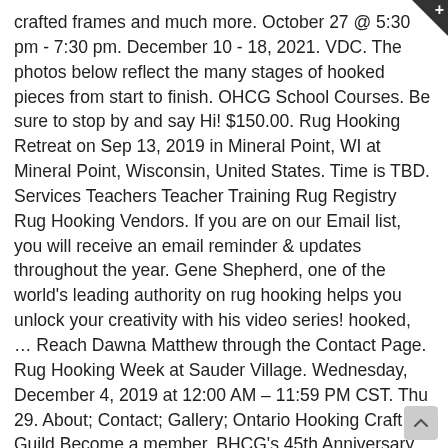crafted frames and much more. October 27 @ 5:30 pm - 7:30 pm. December 10 - 18, 2021. VDC. The photos below reflect the many stages of hooked pieces from start to finish. OHCG School Courses. Be sure to stop by and say Hi! $150.00. Rug Hooking Retreat on Sep 13, 2019 in Mineral Point, WI at Mineral Point, Wisconsin, United States. Time is TBD. Services Teachers Teacher Training Rug Registry Rug Hooking Vendors. If you are on our Email list, you will receive an email reminder & updates throughout the year. Gene Shepherd, one of the world's leading authority on rug hooking helps you unlock your creativity with his video series! hooked, … Reach Dawna Matthew through the Contact Page. Rug Hooking Week at Sauder Village. Wednesday, December 4, 2019 at 12:00 AM – 11:59 PM CST. Thu 29. About; Contact; Gallery; Ontario Hooking Craft Guild Become a member. BHCG's 45th Anniversary. straightriverrughooking@gmail.com (507) 413-0130. Hours. Heidi's work can be seen in her studio at Pumpkin Ridge Rugs in Salisbury, New Hampshire. Many talented ladies gathered recently to celebrate the season with good fellowship, food and hooking. Dates represent our travel schedule, not necessarily exact dates of each event. 3/27-29, Jayne Hester; 6/8-10, Kathy Clark; 8/21-23, Sally Kallin. Additionally, Katie will have her own